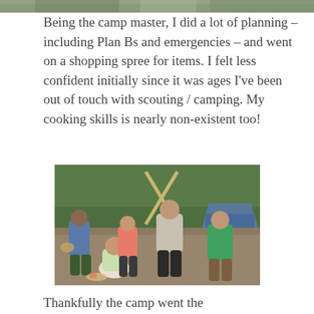[Figure (photo): Partial top strip of a photo showing green forest/nature scene]
Being the camp master, I did a lot of planning – including Plan Bs and emergencies – and went on a shopping spree for items. I felt less confident initially since it was ages I've been out of touch with scouting / camping. My cooking skills is nearly non-existent too!
[Figure (photo): Outdoor camping scene with several people standing and crouching in a forest clearing, with bamboo poles crossed in the background and a blue tent visible. People are wearing casual clothes and appear to be cooking or preparing food.]
Thankfully the camp went the